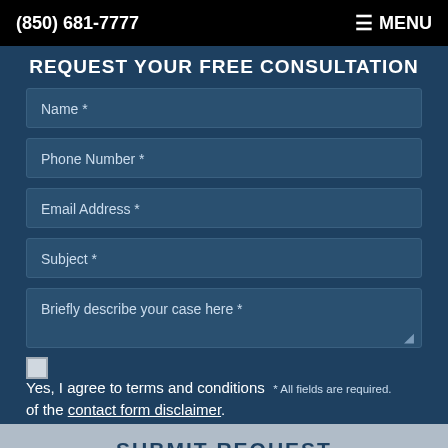(850) 681-7777   ≡ MENU
REQUEST YOUR FREE CONSULTATION
Name *
Phone Number *
Email Address *
Subject *
Briefly describe your case here *
Yes, I agree to terms and conditions * All fields are required. of the contact form disclaimer.
SUBMIT REQUEST